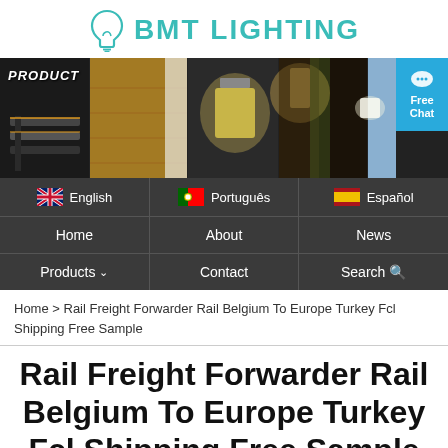BMT LIGHTING
[Figure (photo): Banner showing five product photos of LED lighting installations including stair lights, wall lights, and step lights, with 'PRODUCT' label overlaid.]
English | Português | Español | Free Chat
Home | About | News
Products | Contact | Search
Home > Rail Freight Forwarder Rail Belgium To Europe Turkey Fcl Shipping Free Sample
Rail Freight Forwarder Rail Belgium To Europe Turkey Fcl Shipping Free Sample